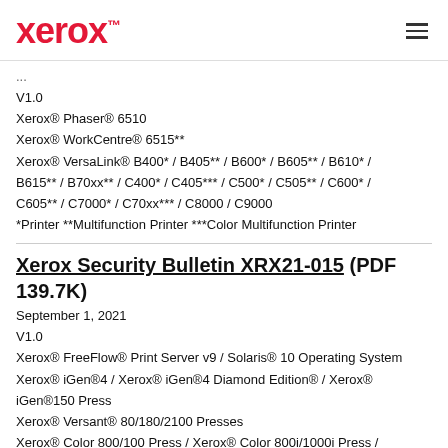Xerox™
V1.0
Xerox® Phaser® 6510
Xerox® WorkCentre® 6515**
Xerox® VersaLink® B400* / B405** / B600* / B605** / B610* / B615** / B70xx** / C400* / C405*** / C500* / C505** / C600* / C605** / C7000* / C70xx*** / C8000 / C9000
*Printer **Multifunction Printer ***Color Multifunction Printer
Xerox Security Bulletin XRX21-015 (PDF 139.7K)
September 1, 2021
V1.0
Xerox® FreeFlow® Print Server v9 / Solaris® 10 Operating System
Xerox® iGen®4 / Xerox® iGen®4 Diamond Edition® / Xerox® iGen®150 Press
Xerox® Versant® 80/180/2100 Presses
Xerox® Color 800/100 Press / Xerox® Color 800i/1000i Press / Xerox® Color Press J75/C75 Press / Xerox® Color Press 560/570 Production Printer